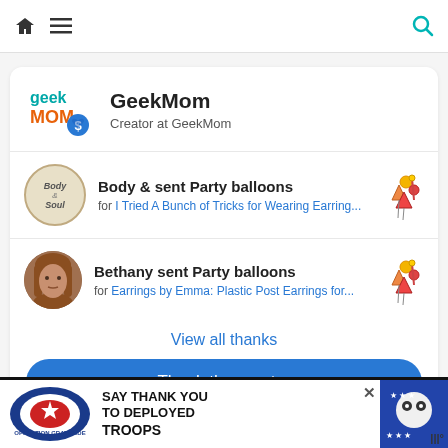[Figure (screenshot): Navigation bar with home icon, hamburger menu, and search icon]
[Figure (logo): GeekMom logo with teal 'geek' text, orange 'MOM' text, and blue heart/dollar badge]
GeekMom
Creator at GeekMom
Body & sent Party balloons
for I Tried A Bunch of Tricks for Wearing Earring...
Bethany sent Party balloons
for Earrings by Emma: Plastic Post Earrings for...
View all thanks
Thank the creator
[Figure (screenshot): Operation Gratitude ad banner: SAY THANK YOU TO DEPLOYED TROOPS with patriotic imagery]